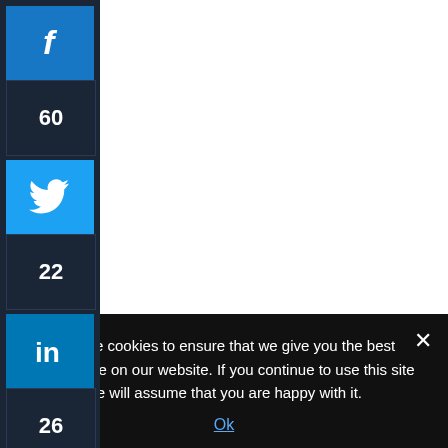[Figure (screenshot): Social media share sidebar with Facebook (60), Twitter (22), and LinkedIn (26) share buttons and counts on dark navy background]
Add a Comment
We use cookies to ensure that we give you the best experience on our website. If you continue to use this site we will assume that you are happy with it.
Ok